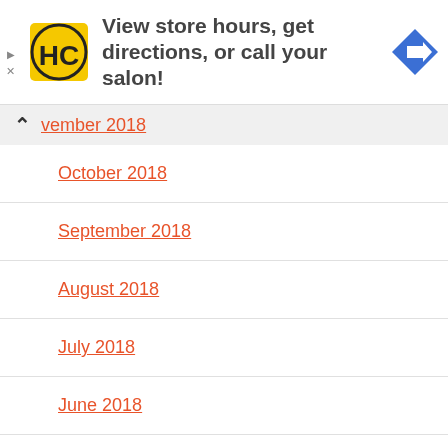[Figure (infographic): Haircut advertisement banner with HC logo (yellow square with HC letters), text 'View store hours, get directions, or call your salon!', blue diamond navigation arrow icon, and ad controls (play/close buttons)]
vember 2018
October 2018
September 2018
August 2018
July 2018
June 2018
May 2018
April 2018